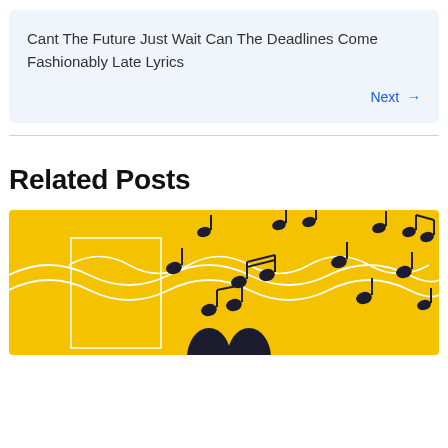Cant The Future Just Wait Can The Deadlines Come Fashionably Late Lyrics
Next →
Related Posts
[Figure (illustration): Yellow background illustration with floating black music notes and white wavy lines, with a partial view of a hand/microphone at the bottom center.]